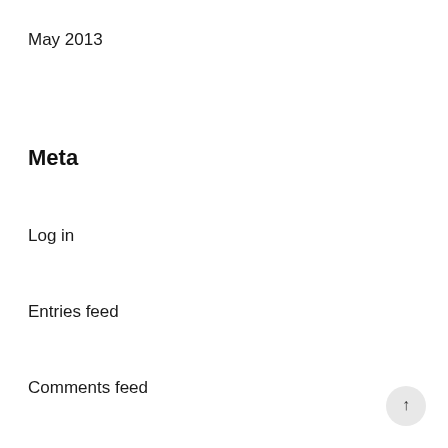May 2013
Meta
Log in
Entries feed
Comments feed
WordPress.org